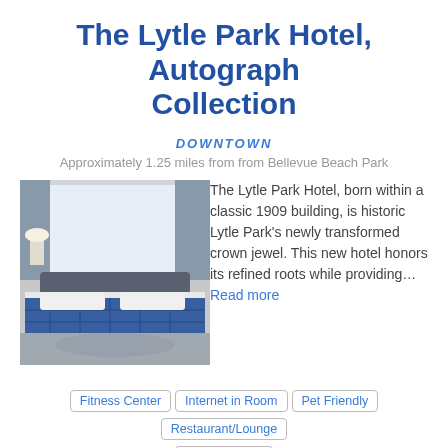The Lytle Park Hotel, Autograph Collection
DOWNTOWN
Approximately 1.25 miles from from Bellevue Beach Park
[Figure (photo): Hotel room photo showing a bed with blue plaid blanket and grey/blue decor]
The Lytle Park Hotel, born within a classic 1909 building, is historic Lytle Park's newly transformed crown jewel. This new hotel honors its refined roots while providing... Read more
Fitness Center
Internet in Room
Pet Friendly
Restaurant/Lounge
Room Service
MORE INFO
VIEW MAP
CALL NOW
BOOK ONLINE